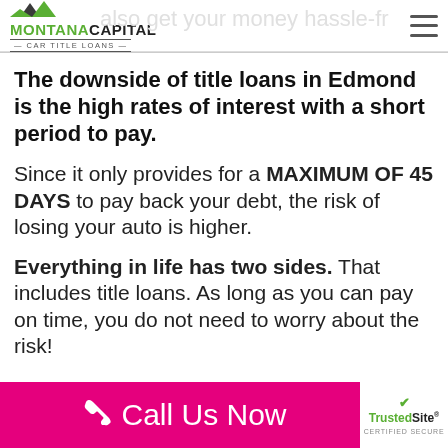MONTANA CAPITAL CAR TITLE LOANS
The downside of title loans in Edmond is the high rates of interest with a short period to pay.
Since it only provides for a MAXIMUM OF 45 DAYS to pay back your debt, the risk of losing your auto is higher.
Everything in life has two sides. That includes title loans. As long as you can pay on time, you do not need to worry about the risk!
Call Us Now | TrustedSite CERTIFIED SECURE